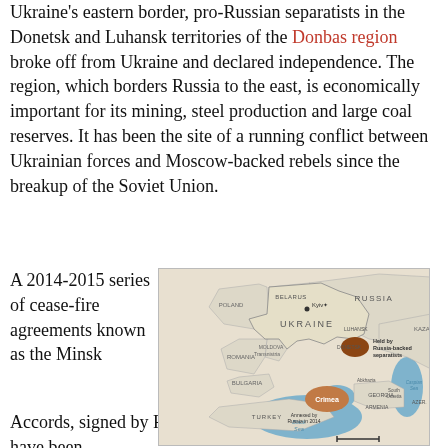Ukraine's eastern border, pro-Russian separatists in the Donetsk and Luhansk territories of the Donbas region broke off from Ukraine and declared independence. The region, which borders Russia to the east, is economically important for its mining, steel production and large coal reserves. It has been the site of a running conflict between Ukrainian forces and Moscow-backed rebels since the breakup of the Soviet Union.
A 2014-2015 series of cease-fire agreements known as the Minsk Accords, signed by Russia, Ukraine, France and Germany have been
[Figure (map): Map showing Ukraine and surrounding region, with Crimea (annexed by Russia in 2014) highlighted in brown/orange, and areas held by Russia-backed separatists in eastern Ukraine (Donetsk/Luhansk) also highlighted. Surrounding countries labeled include Belarus, Poland, Moldova, Romania, Bulgaria, Turkey, Russia, Kazakhstan, Georgia, Armenia, Azerbaijan. Black Sea and Caspian Sea visible. Credit: THE WASHINGTON POST.]